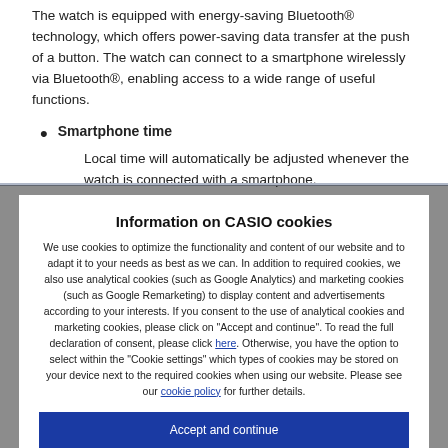The watch is equipped with energy-saving Bluetooth® technology, which offers power-saving data transfer at the push of a button. The watch can connect to a smartphone wirelessly via Bluetooth®, enabling access to a wide range of useful functions.
Smartphone time
Local time will automatically be adjusted whenever the watch is connected with a smartphone.
Information on CASIO cookies
We use cookies to optimize the functionality and content of our website and to adapt it to your needs as best as we can. In addition to required cookies, we also use analytical cookies (such as Google Analytics) and marketing cookies (such as Google Remarketing) to display content and advertisements according to your interests. If you consent to the use of analytical cookies and marketing cookies, please click on "Accept and continue". To read the full declaration of consent, please click here. Otherwise, you have the option to select within the "Cookie settings" which types of cookies may be stored on your device next to the required cookies when using our website. Please see our cookie policy for further details.
Accept and continue
Cookie settings